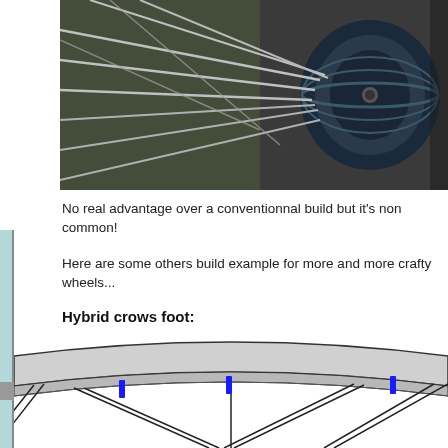[Figure (photo): Close-up photograph of a bicycle wheel hub showing spokes, the axle, and metal components in silver and dark tones.]
No real advantage over a conventionnal build but it's non common!
Here are some others build example for more and more crafty wheels...
Hybrid crows foot:
[Figure (illustration): Engineering diagram showing a cross-section of a bicycle wheel rim with spokes. The rim is shown in gray with black outlines. Blue rectangles indicate nipple positions at the rim. Several spokes extend downward at angles from different points along the rim.]